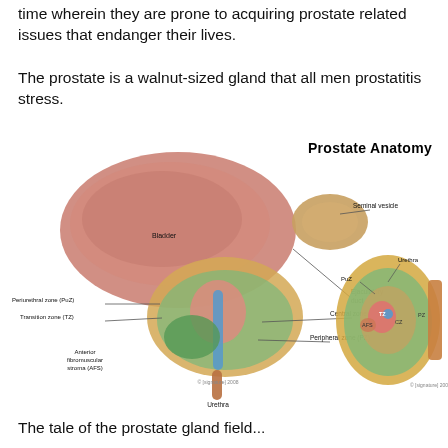time wherein they are prone to acquiring prostate related issues that endanger their lives.
The prostate is a walnut-sized gland that all men prostatitis stress.
[Figure (illustration): Medical illustration of prostate anatomy showing two views: a sagittal cross-section view on the left depicting the bladder, seminal vesicle, ejaculatory duct, central zone (CZ), peripheral zone (PZ), periurethral zone (PuZ), transition zone (TZ), anterior fibromuscular stroma (AFS), and urethra; and a transverse cross-section view on the right showing PuZ, TZ, AFS, CZ, PZ zones and Urethra label. Title reads 'Prostate Anatomy'.]
The tale of the prostate gland field...